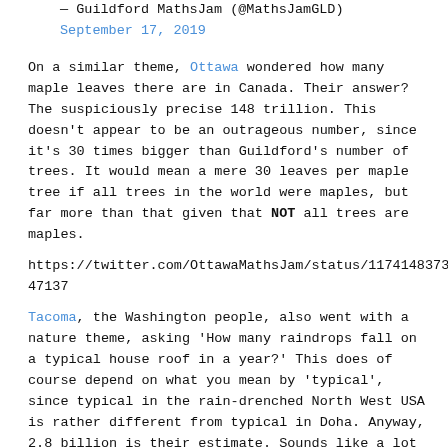— Guildford MathsJam (@MathsJamGLD)
September 17, 2019
On a similar theme, Ottawa wondered how many maple leaves there are in Canada. Their answer? The suspiciously precise 148 trillion. This doesn't appear to be an outrageous number, since it's 30 times bigger than Guildford's number of trees. It would mean a mere 30 leaves per maple tree if all trees in the world were maples, but far more than that given that NOT all trees are maples.
https://twitter.com/OttawaMathsJam/status/1174148373328347137
Tacoma, the Washington people, also went with a nature theme, asking 'How many raindrops fall on a typical house roof in a year?' This does of course depend on what you mean by 'typical', since typical in the rain-drenched North West USA is rather different from typical in Doha. Anyway, 2.8 billion is their estimate. Sounds like a lot of rain, but then, I've been to Seattle and I can believe it's true.